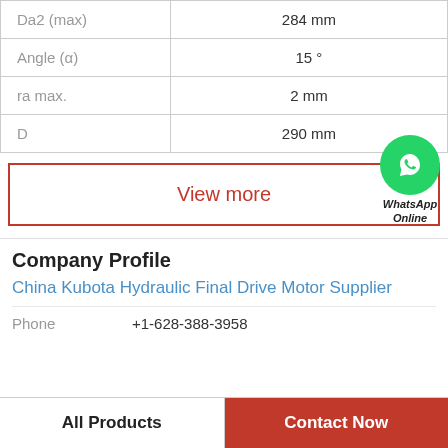| Parameter | Value |
| --- | --- |
| Da2 (max) | 284 mm |
| Angle (α) | 15 ° |
| ra max. | 2 mm |
| D | 290 mm |
View more
[Figure (logo): WhatsApp green circle icon with phone handset, labeled WhatsApp Online]
Company Profile
China Kubota Hydraulic Final Drive Motor Supplier
Phone    +1-628-388-3958
All Products    Contact Now